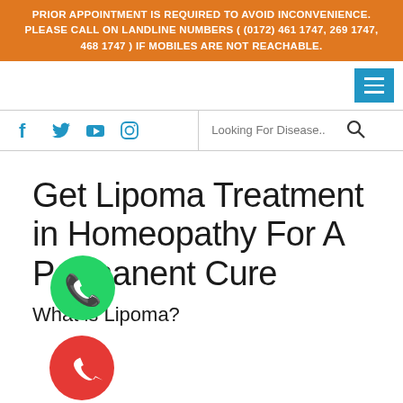PRIOR APPOINTMENT IS REQUIRED TO AVOID INCONVENIENCE. PLEASE CALL ON LANDLINE NUMBERS ( (0172) 461 1747, 269 1747, 468 1747 ) IF MOBILES ARE NOT REACHABLE.
[Figure (screenshot): Navigation bar with hamburger menu icon (blue background with three white lines)]
[Figure (infographic): Social media icons: Facebook (f), Twitter (bird), YouTube (play button), Instagram (camera). Plus search bar with placeholder 'Looking For Disease..']
Get Lipoma Treatment in Homeopathy For A Permanent Cure
[Figure (illustration): WhatsApp floating button — green circle with white phone handset icon]
What is Lipoma?
[Figure (illustration): Phone call floating button — red circle with white phone handset icon]